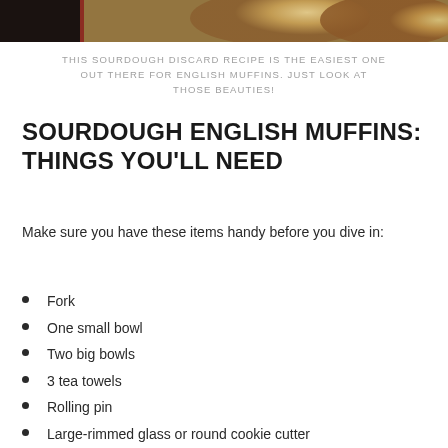[Figure (photo): Partial photo of sourdough English muffins on a red plate, cropped at top of page]
THIS SOURDOUGH DISCARD RECIPE IS THE EASIEST ONE OUT THERE FOR ENGLISH MUFFINS. JUST LOOK AT THOSE BEAUTIES!
SOURDOUGH ENGLISH MUFFINS: THINGS YOU'LL NEED
Make sure you have these items handy before you dive in:
Fork
One small bowl
Two big bowls
3 tea towels
Rolling pin
Large-rimmed glass or round cookie cutter
Two baking trays